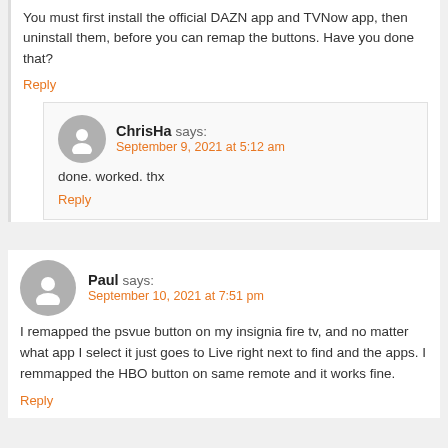You must first install the official DAZN app and TVNow app, then uninstall them, before you can remap the buttons. Have you done that?
Reply
ChrisHa says:
September 9, 2021 at 5:12 am
done. worked. thx
Reply
Paul says:
September 10, 2021 at 7:51 pm
I remapped the psvue button on my insignia fire tv, and no matter what app I select it just goes to Live right next to find and the apps. I remmapped the HBO button on same remote and it works fine.
Reply